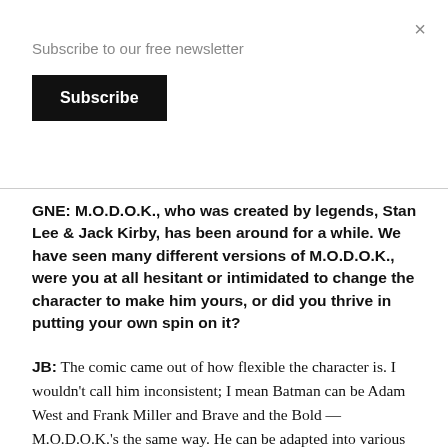×
Subscribe to our free newsletter
Subscribe
GNE: M.O.D.O.K., who was created by legends, Stan Lee & Jack Kirby, has been around for a while. We have seen many different versions of M.O.D.O.K., were you at all hesitant or intimidated to change the character to make him yours, or did you thrive in putting your own spin on it?
JB: The comic came out of how flexible the character is. I wouldn't call him inconsistent; I mean Batman can be Adam West and Frank Miller and Brave and the Bold — M.O.D.O.K.'s the same way. He can be adapted into various incarnations but none of them feel like they betray the essence of the character. Sometimes he can be